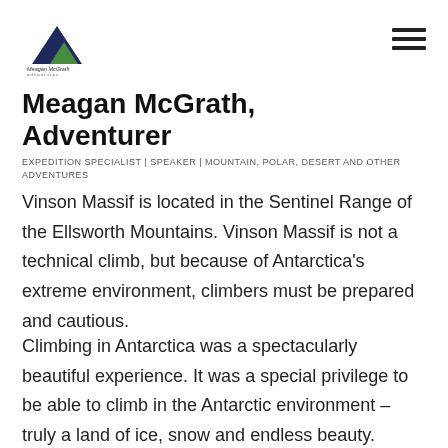[Figure (logo): Meagan McGrath Adventures logo with mountain/triangle graphic in dark blue and green, with company name text below]
Meagan McGrath, Adventurer
EXPEDITION SPECIALIST | SPEAKER | MOUNTAIN, POLAR, DESERT AND OTHER ADVENTURES
Vinson Massif is located in the Sentinel Range of the Ellsworth Mountains. Vinson Massif is not a technical climb, but because of Antarctica's extreme environment, climbers must be prepared and cautious.
Climbing in Antarctica was a spectacularly beautiful experience. It was a special privilege to be able to climb in the Antarctic environment – truly a land of ice, snow and endless beauty.